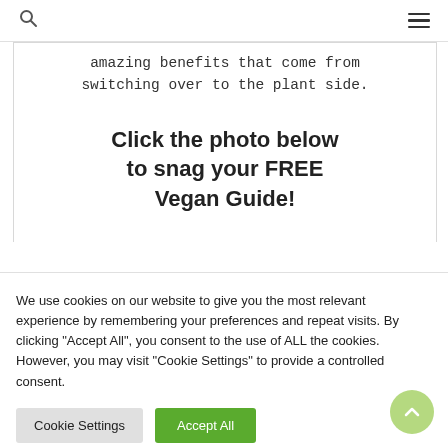Search | Menu
amazing benefits that come from switching over to the plant side.
Click the photo below to snag your FREE Vegan Guide!
We use cookies on our website to give you the most relevant experience by remembering your preferences and repeat visits. By clicking "Accept All", you consent to the use of ALL the cookies. However, you may visit "Cookie Settings" to provide a controlled consent.
Cookie Settings | Accept All